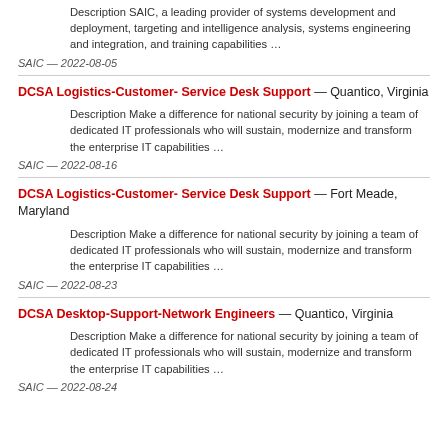Description SAIC, a leading provider of systems development and deployment, targeting and intelligence analysis, systems engineering and integration, and training capabilities …
SAIC — 2022-08-05
DCSA Logistics-Customer- Service Desk Support — Quantico, Virginia
Description Make a difference for national security by joining a team of dedicated IT professionals who will sustain, modernize and transform the enterprise IT capabilities …
SAIC — 2022-08-16
DCSA Logistics-Customer- Service Desk Support — Fort Meade, Maryland
Description Make a difference for national security by joining a team of dedicated IT professionals who will sustain, modernize and transform the enterprise IT capabilities …
SAIC — 2022-08-23
DCSA Desktop-Support-Network Engineers — Quantico, Virginia
Description Make a difference for national security by joining a team of dedicated IT professionals who will sustain, modernize and transform the enterprise IT capabilities …
SAIC — 2022-08-24